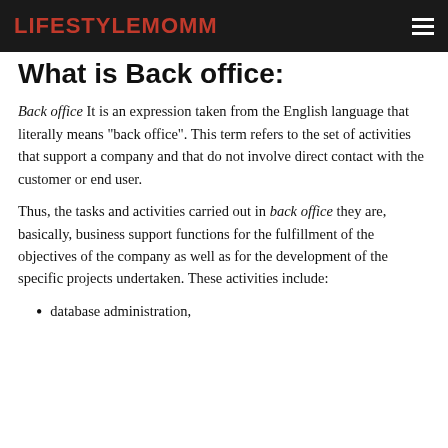LIFESTYLEMOMM
What is Back office:
Back office It is an expression taken from the English language that literally means "back office". This term refers to the set of activities that support a company and that do not involve direct contact with the customer or end user.
Thus, the tasks and activities carried out in back office they are, basically, business support functions for the fulfillment of the objectives of the company as well as for the development of the specific projects undertaken. These activities include:
database administration,